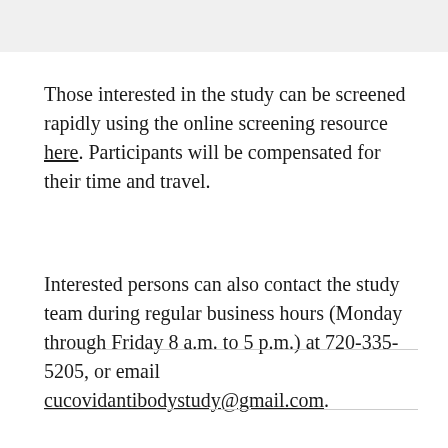Those interested in the study can be screened rapidly using the online screening resource here. Participants will be compensated for their time and travel.
Interested persons can also contact the study team during regular business hours (Monday through Friday 8 a.m. to 5 p.m.) at 720-335-5205, or email cucovidantibodystudy@gmail.com.